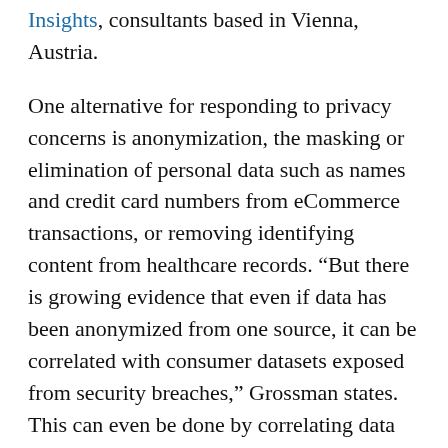Insights, consultants based in Vienna, Austria.
One alternative for responding to privacy concerns is anonymization, the masking or elimination of personal data such as names and credit card numbers from eCommerce transactions, or removing identifying content from healthcare records. “But there is growing evidence that even if data has been anonymized from one source, it can be correlated with consumer datasets exposed from security breaches,” Grossman states. This can even be done by correlating data from public sources, not requiring a security hack.
A primary tool for building synthetic data is the same one used to createdeepfakevideos—generative adversarial networks (GANs), a pair of neural networks. One network generates the synthetic data